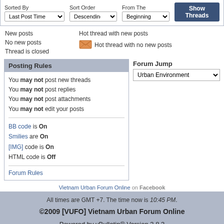[Figure (screenshot): Forum thread sorting controls: Sorted By (Last Post Time), Sort Order (Descending), From The (Beginning), and Show Threads button]
New posts
Hot thread with new posts
No new posts
[Figure (other): Orange envelope icon for hot thread with no new posts]
Hot thread with no new posts
Thread is closed
Posting Rules
You may not post new threads
You may not post replies
You may not post attachments
You may not edit your posts
BB code is On
Smilies are On
[IMG] code is On
HTML code is Off
Forum Rules
Forum Jump
Urban Environment
Vietnam Urban Forum Online on Facebook
All times are GMT +7. The time now is 10:45 PM.
©2009 [VUFO] Vietnam Urban Forum Online
Powered by vBulletin® Version 3.8.3
Copyright ©2000 - 2022, Jelsoft Enterprises Ltd.